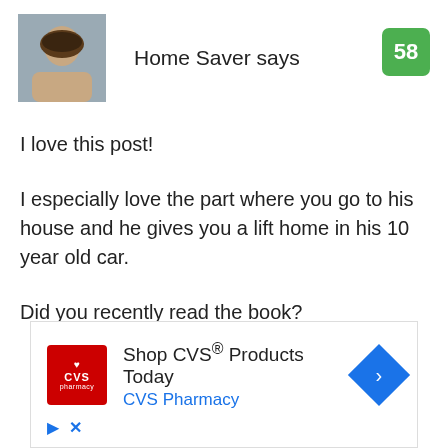Home Saver says
58
I love this post!
I especially love the part where you go to his house and he gives you a lift home in his 10 year old car.
Did you recently read the book?
[Figure (infographic): CVS Pharmacy advertisement: Shop CVS® Products Today]